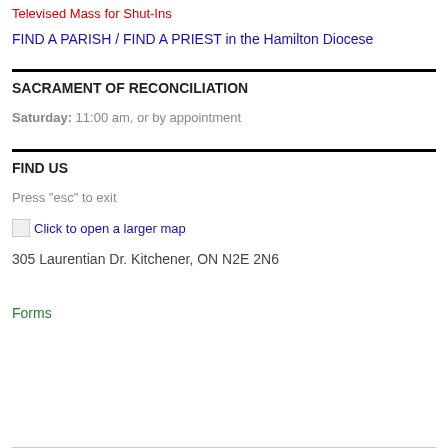Televised Mass for Shut-Ins
FIND A PARISH / FIND A PRIEST in the Hamilton Diocese
SACRAMENT OF RECONCILIATION
Saturday: 11:00 am, or by appointment
FIND US
Press "esc" to exit
Click to open a larger map
305 Laurentian Dr. Kitchener, ON N2E 2N6
Forms